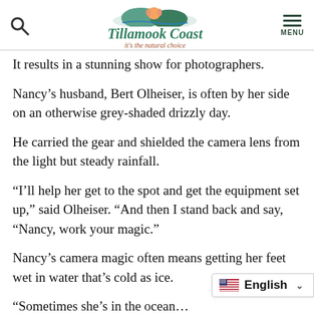Tillamook Coast - it's the natural choice
It results in a stunning show for photographers.
Nancy’s husband, Bert Olheiser, is often by her side on an otherwise grey-shaded drizzly day.
He carried the gear and shielded the camera lens from the light but steady rainfall.
“I’ll help her get to the spot and get the equipment set up,” said Olheiser. “And then I stand back and say, “Nancy, work your magic.”
Nancy’s camera magic often means getting her feet wet in water that’s cold as ice.
“Sometimes she’s in the ocean…